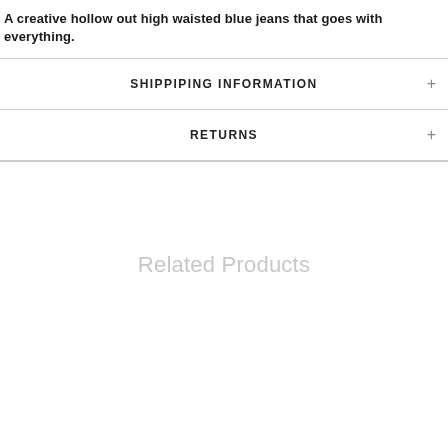A creative hollow out high waisted blue jeans that goes with everything.
SHIPPIPING INFORMATION
RETURNS
Related Products